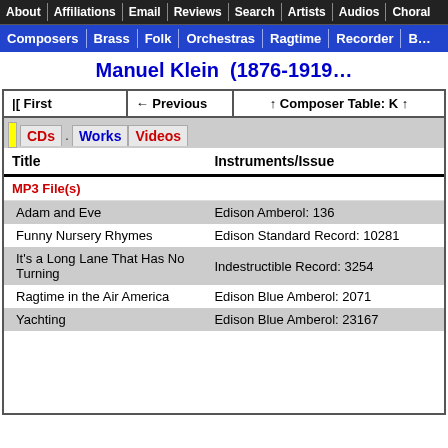About | Affiliations | Email | Reviews | Search | Artists | Audios | Choral
Composers | Brass | Folk | Orchestras | Ragtime | Recorder | B…
Manuel Klein  (1876-1919…
| [ First | ⬅ Previous | ⬆ Composer Table: K ⬆ |
| --- | --- | --- |
CDs . Works Videos
| Title | Instruments/Issue |
| --- | --- |
| MP3 File(s) |  |
| Adam and Eve | Edison Amberol: 136 |
| Funny Nursery Rhymes | Edison Standard Record: 10281 |
| It's a Long Lane That Has No Turning | Indestructible Record: 3254 |
| Ragtime in the Air America | Edison Blue Amberol: 2071 |
| Yachting | Edison Blue Amberol: 23167 |